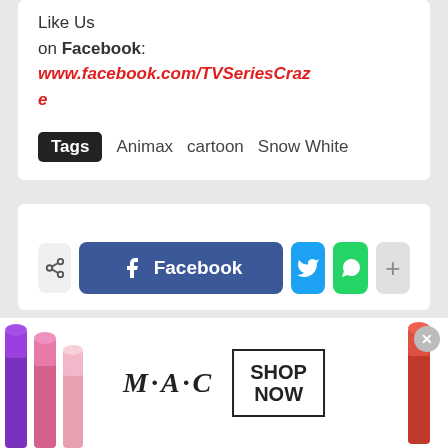Like Us
on Facebook: www.facebook.com/TVSeriesCraze
Tags  Animax  cartoon  Snow White
[Figure (other): Share buttons: share icon, Facebook button, Twitter button, WhatsApp button, plus button]
Rocky Chua
Rocky Chua Batara a.k.a. Aki Chua is a Principal Software QA Engineer by
[Figure (other): M·A·C Cosmetics advertisement with lipsticks and SHOP NOW box]